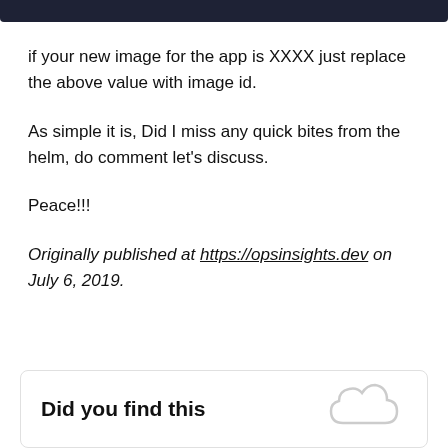[Figure (other): Dark navy header bar at top of page]
if your new image for the app is XXXX just replace the above value with image id.
As simple it is, Did I miss any quick bites from the helm, do comment let's discuss.
Peace!!!
Originally published at https://opsinsights.dev on July 6, 2019.
Did you find this